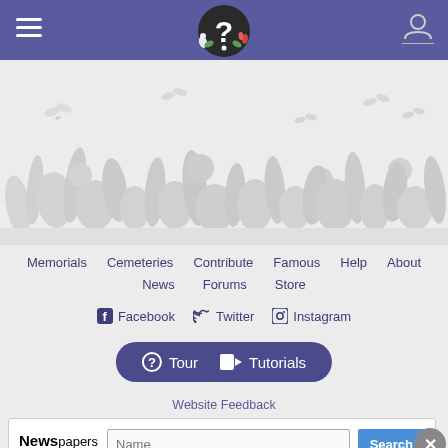FindAGrave navigation header with hamburger menu, logo, and user icon
[Figure (illustration): Decorative silhouette of flowers, plants, and butterflies on a light gray background]
Memorials
Cemeteries
Contribute
Famous
Help
About
News
Forums
Store
Facebook
Twitter
Instagram
Tour   Tutorials
Website Feedback
Newspapers .com  Name  Search